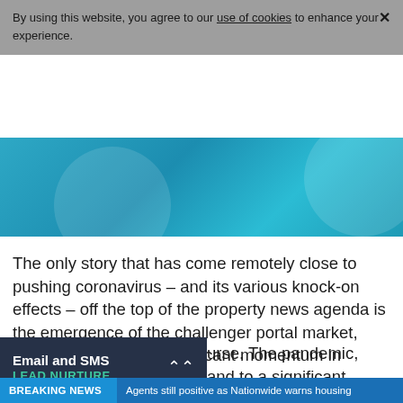By using this website, you agree to our use of cookies to enhance your experience.
[Figure (illustration): Teal/blue hero banner image with overlapping circular shapes and abstract graphics]
The only story that has come remotely close to pushing coronavirus – and its various knock-on effects – off the top of the property news agenda is the emergence of the challenger portal market, which has gathered significant momentum in recent months.
urse. The pandemic, and to a significant backlash
[Figure (infographic): Email and SMS Lead Nurture widget — dark navy background with white bold title 'Email and SMS' and green subtitle 'LEAD NURTURE' with a double chevron up arrow]
BREAKING NEWS   Agents still positive as Nationwide warns housing